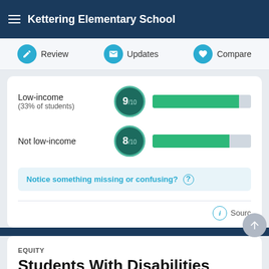Kettering Elementary School
Review | Updates | Compare
Low-income (33% of students) 9/10
Not low-income 8/10
Notice something missing or confusing? ?
Source
EQUITY
Students With Disabilities